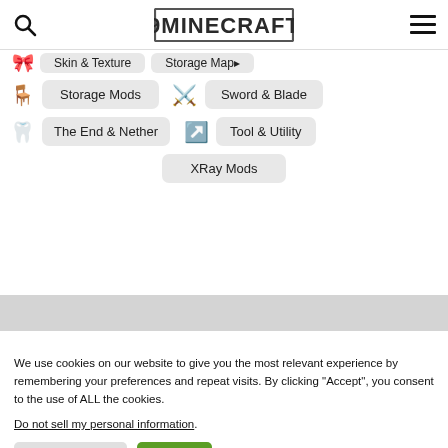9MINECRAFT
Storage Mods
Sword & Blade
The End & Nether
Tool & Utility
XRay Mods
We use cookies on our website to give you the most relevant experience by remembering your preferences and repeat visits. By clicking “Accept”, you consent to the use of ALL the cookies.
Do not sell my personal information.
Cookie Settings  Accept